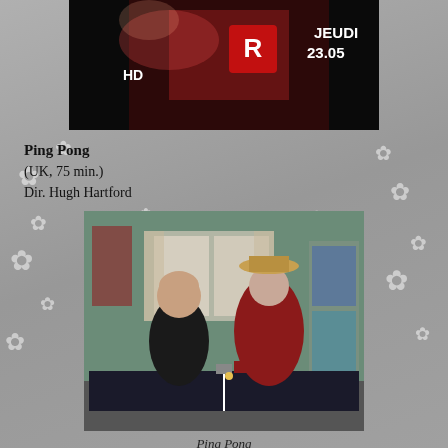[Figure (screenshot): Top portion of a TV/film screenshot showing a logo with letter R, text 'JEUDI 23.05', and HD label on dark background]
Ping Pong
(UK, 75 min.)
Dir. Hugh Hartford
[Figure (photo): Two elderly people standing behind a ping pong table in a green-walled room - a woman in black fur coat and a man in a red shirt and cowboy hat]
Ping Pong
The biggest crowd-pleaser of the festival so far is the hilarious sports saga Ping Pong. Ping Pong made for a great bookend with About Face. Another tale of aging gracefully, Ping Pong chronicles a group of seniors as they compete in